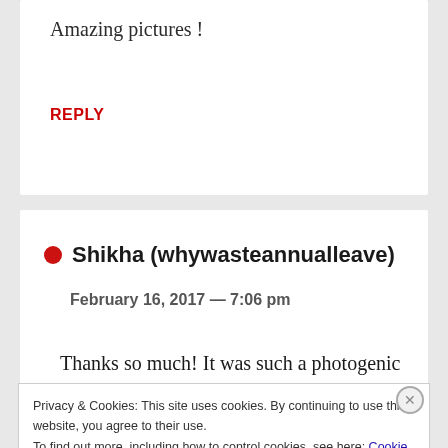Amazing pictures !
REPLY
Shikha (whywasteannualleave)
February 16, 2017 — 7:06 pm
Thanks so much! It was such a photogenic country to visit!
Privacy & Cookies: This site uses cookies. By continuing to use this website, you agree to their use.
To find out more, including how to control cookies, see here: Cookie Policy
Close and accept